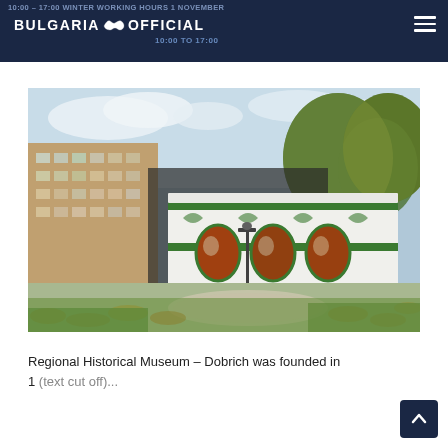10:00 – 17:00 WINTER WORKING HOURS 1 NOVEMBER — 10:00 TO 17:00 BULGARIA OFFICIAL
[Figure (photo): Exterior photograph of the Regional Historical Museum Dobrich building. A white ornate single-story structure with green decorative accents and oval windows, surrounded by autumn trees with fallen leaves and a park setting. A multi-story residential building is visible in the background on the left.]
Regional Historical Museum – Dobrich was founded in 1 (text continues below)